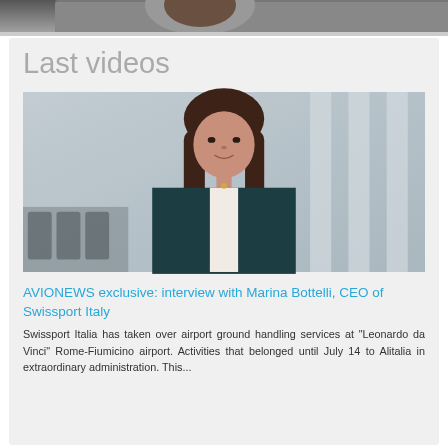[Figure (photo): Partial top strip showing the bottom edge of a photograph (appears to be a person or people, partially cropped at the very top of the page)]
Last videos
[Figure (photo): Professional photo of Marina Bottelli, CEO of Swissport Italy, a woman with dark brown shoulder-length hair wearing a dark teal blazer over a white top, standing in an airport terminal with blurred columns and seating in the background]
AVIONEWS exclusive: interview with Marina Bottelli, CEO of Swissport Italy
Swissport Italia has taken over airport ground handling services at "Leonardo da Vinci" Rome-Fiumicino airport. Activities that belonged until July 14 to Alitalia in extraordinary administration. This...